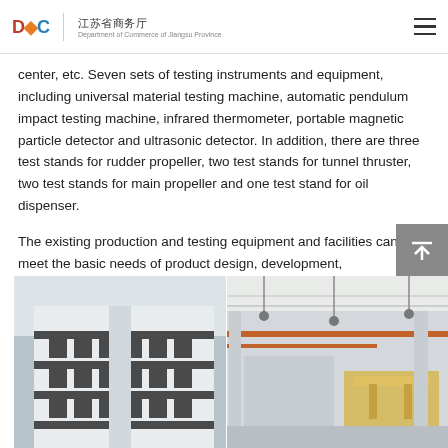DOC 江苏省商务厅
center, etc. Seven sets of testing instruments and equipment, including universal material testing machine, automatic pendulum impact testing machine, infrared thermometer, portable magnetic particle detector and ultrasonic detector. In addition, there are three test stands for rudder propeller, two test stands for tunnel thruster, two test stands for main propeller and one test stand for oil dispenser.
The existing production and testing equipment and facilities can meet the basic needs of product design, development, production and service.
[Figure (photo): Industrial facility interior showing a multi-story building exterior with windows on the left, and an industrial workshop interior with overhead cranes and equipment on the right.]